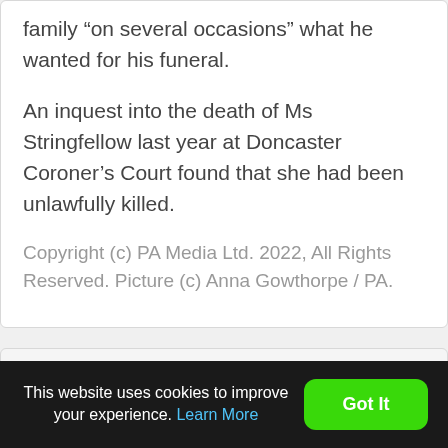family “on several occasions” what he wanted for his funeral.
An inquest into the death of Ms Stringfellow last year at Doncaster Coroner’s Court found that she had been unlawfully killed.
Copyright (c) PA Media Ltd. 2022, All Rights Reserved. Picture (c) Anna Gowthorpe / PA.
< Inquest opened for two care home residents who
This website uses cookies to improve your experience. Learn More